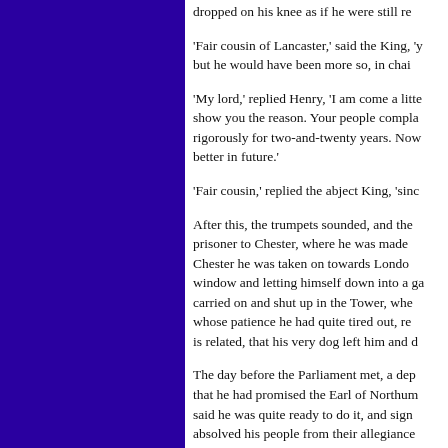dropped on his knee as if he were still re
'Fair cousin of Lancaster,' said the King, 'y but he would have been more so, in chai
'My lord,' replied Henry, 'I am come a little show you the reason. Your people compla rigorously for two-and-twenty years. Now better in future.'
'Fair cousin,' replied the abject King, 'sinc
After this, the trumpets sounded, and the prisoner to Chester, where he was made Chester he was taken on towards Londo window and letting himself down into a ga carried on and shut up in the Tower, whe whose patience he had quite tired out, re is related, that his very dog left him and d
The day before the Parliament met, a dep that he had promised the Earl of Northum said he was quite ready to do it, and sign absolved his people from their allegiance royal ring to his triumphant cousin Henry had leave to appoint a successor, that sa would have named. Next day, the Parliam sat at the side of the throne, which was e just signed by the King was read to the m through all the streets; when some of the through all the streets; when some of the